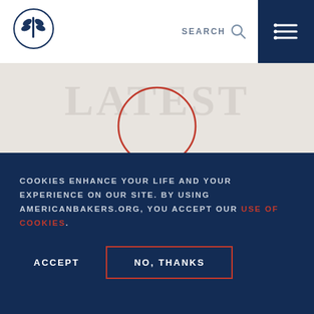Navigation bar with logo, SEARCH, and menu icon
[Figure (screenshot): American Bakers Association website header with navy wheat logo, SEARCH icon, and hamburger menu on dark navy background]
LATEST NEWS
COOKIES ENHANCE YOUR LIFE AND YOUR EXPERIENCE ON OUR SITE. BY USING AMERICANBAKERS.ORG, YOU ACCEPT OUR USE OF COOKIES.
ACCEPT
NO, THANKS